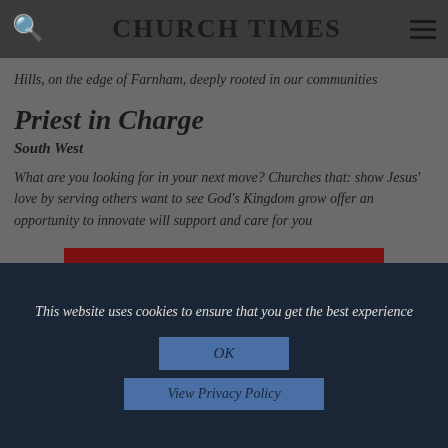CHURCH TIMES
Hills, on the edge of Farnham, deeply rooted in our communities
Priest in Charge
South West
What are you looking for in your next move? Churches that: show Jesus' love by serving others want to see God's Kingdom grow offer an opportunity to innovate will support and care for you
Find more jobs
This website uses cookies to ensure that you get the best experience
OK
View Privacy Policy